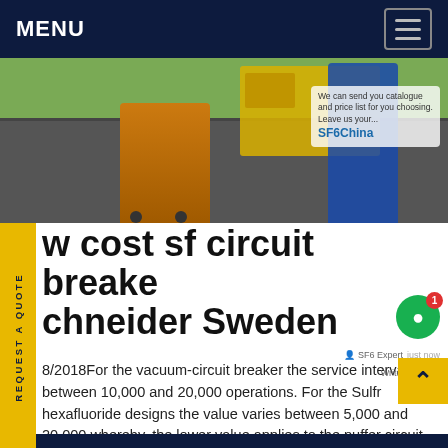MENU
[Figure (photo): Outdoor electrical equipment scene with orange wheeled cart/dolly, yellow truck in background, worker in blue coverall, green grass, with SF6China chat overlay popup visible]
REQUEST A QUOTE
low cost sf circuit breaker schneider Sweden
8/2018For the vacuum-circuit breaker the service interval lies between 10,000 and 20,000 operations. For the Sulfr hexafluoride designs the value varies between 5,000 and 20,000 whereby, the lower value applies to the puffer circuit-breaker for whose Get price